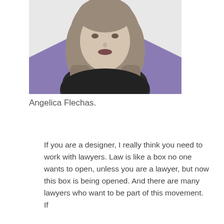[Figure (photo): Black and white headshot photo of Angelica Flechas, a woman with long hair wearing a dark patterned top, set against a purple geometric diamond/chevron background shape.]
Angelica Flechas.
If you are a designer, I really think you need to work with lawyers. Law is like a box no one wants to open, unless you are a lawyer, but now this box is being opened. And there are many lawyers who want to be part of this movement. If